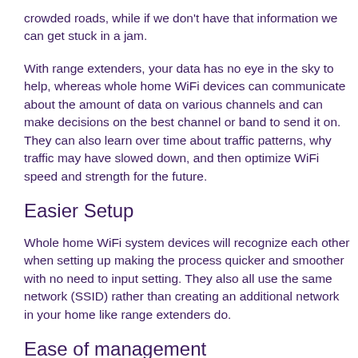crowded roads, while if we don't have that information we can get stuck in a jam.
With range extenders, your data has no eye in the sky to help, whereas whole home WiFi devices can communicate about the amount of data on various channels and can make decisions on the best channel or band to send it on. They can also learn over time about traffic patterns, why traffic may have slowed down, and then optimize WiFi speed and strength for the future.
Easier Setup
Whole home WiFi system devices will recognize each other when setting up making the process quicker and smoother with no need to input setting. They also all use the same network (SSID) rather than creating an additional network in your home like range extenders do.
Ease of management